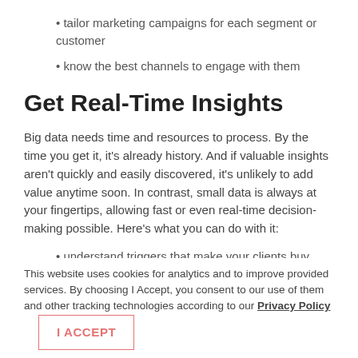• tailor marketing campaigns for each segment or customer
• know the best channels to engage with them
Get Real-Time Insights
Big data needs time and resources to process. By the time you get it, it's already history. And if valuable insights aren't quickly and easily discovered, it's unlikely to add value anytime soon. In contrast, small data is always at your fingertips, allowing fast or even real-time decision-making possible. Here's what you can do with it:
• understand triggers that make your clients buy
This website uses cookies for analytics and to improve provided services. By choosing I Accept, you consent to our use of them and other tracking technologies according to our Privacy Policy